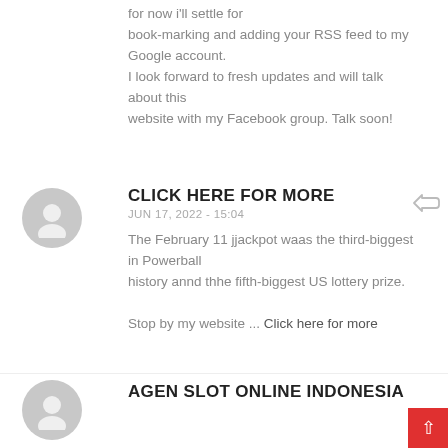for now i'll settle for book-marking and adding your RSS feed to my Google account. I look forward to fresh updates and will talk about this website with my Facebook group. Talk soon!
[Figure (illustration): Gray circular user avatar icon for comment author]
CLICK HERE FOR MORE
JUN 17, 2022 - 15:04
The February 11 jjackpot waas the third-biggest in Powerball history annd thhe fifth-biggest US lottery prize.
Stop by my website ... Click here for more
[Figure (illustration): Gray circular user avatar icon for second comment author]
AGEN SLOT ONLINE INDONESIA